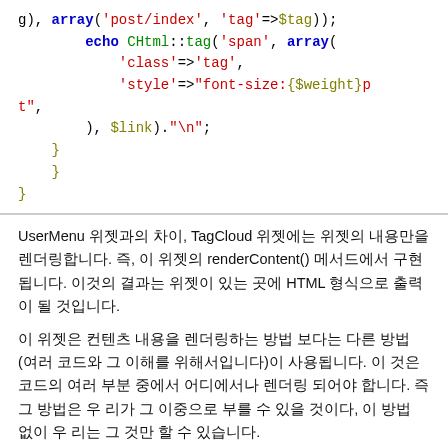g), array('post/index','tag'=>$tag));
            echo CHtml::tag('span', array(
                'class'=>'tag',
                'style'=>"font-size:{$weight}pt",
            ), $link)."\n";
        }
    }
}
UserMenu 위젯과의 차이, TagCloud 위젯에는 위젯의 내용만을 렌더링합니다. 즉, 이 위젯의 renderContent() 메서드에서 구현됩니다. 이것의 결과는 위젯이 있는 곳에 HTML 형식으로 출력이 될 것입니다.
이 위젯은 컨텐츠 내용을 렌더링하는 방법 보다는 다른 방법 (여러 코드와 그 이해를 위해서입니다)이 사용됩니다. 이 것은 코드의 여러 부분 중에서 어디에서나 렌더링 되어야 합니다. 즉 그 방법은 우 리가 그 이중으로 부를 수 있을 것이다, 이 방법 없이 우 리는 그 것만 할 수 있습니다.
2. TagCloud 위젯의 생성
TagCloud 위젯에는 위젯의 파일 을 생성합니다. 생성되는 곳은 /wwwroot/blog/protected/views/layouts/column2.php 와 같이 의 경로에 위치합니다.